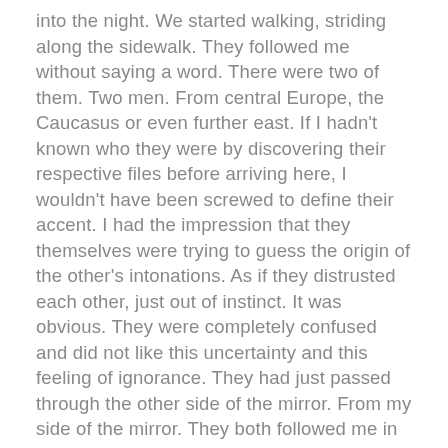into the night. We started walking, striding along the sidewalk. They followed me without saying a word. There were two of them. Two men. From central Europe, the Caucasus or even further east. If I hadn't known who they were by discovering their respective files before arriving here, I wouldn't have been screwed to define their accent. I had the impression that they themselves were trying to guess the origin of the other's intonations. As if they distrusted each other, just out of instinct. It was obvious. They were completely confused and did not like this uncertainty and this feeling of ignorance. They had just passed through the other side of the mirror. From my side of the mirror. They both followed me in single file. We walked along the Quai Branly, passed the Avenue de Suffren. In front of us, the Eiffel Tower sparkled. She seemed even more beautiful to me than the last time I had been here. It was ten years ago, something like that. On the sidewalk to our right, a thick cluster of Asians were